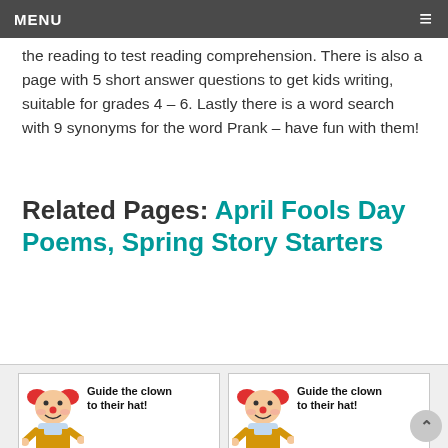MENU
the reading to test reading comprehension. There is also a page with 5 short answer questions to get kids writing, suitable for grades 4 – 6. Lastly there is a word search with 9 synonyms for the word Prank – have fun with them!
Related Pages: April Fools Day Poems, Spring Story Starters
[Figure (illustration): Two clown maze puzzle cards side by side. Each card shows a cartoon clown character with red hair, blue shirt and yellow overalls with text 'Guide the clown to their hat!' and a maze below.]